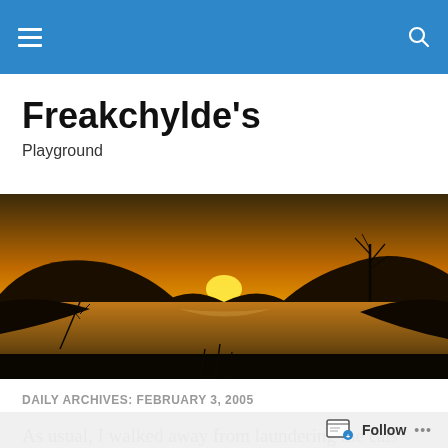Freakchylde's Playground — navigation bar with hamburger menu and search icon
Freakchylde's
Playground
[Figure (photo): Sunset landscape photo showing a lake with silhouetted hills and a bare tree, orange and yellow sky near the horizon]
DAILY ARCHIVES: FEBRUARY 3, 2005
As usual, I walked away from laundering the cats with at least one well placed scratch. Thankfully the other two are
Follow ...